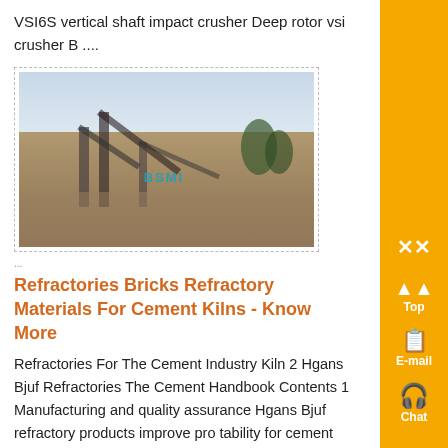VSI6S vertical shaft impact crusher Deep rotor vsi crusher B ....
[Figure (photo): Outdoor industrial crushing/mining plant with conveyors and equipment, with watermark text 'BSMI']
...
Refractories Bricks Refractory Materials For Cement Kilns - Know More
Refractories For The Cement Industry Kiln 2 Hgans Bjuf Refractories The Cement Handbook Contents 1 Manufacturing and quality assurance Hgans Bjuf refractory products improve pro tability for cement manufactur the kiln should always be lined only with brick Brick heights which depend on kiln diameter range from 200 mm and up On the following pages we deal speci...